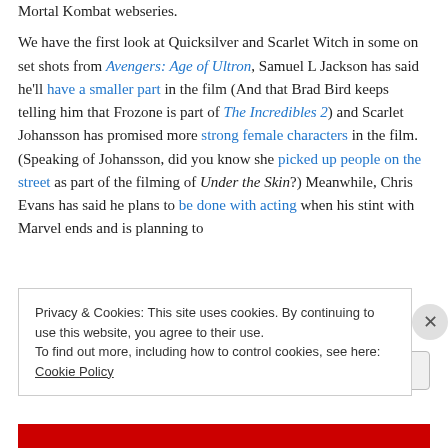Mortal Kombat webseries.
We have the first look at Quicksilver and Scarlet Witch in some on set shots from Avengers: Age of Ultron, Samuel L Jackson has said he'll have a smaller part in the film (And that Brad Bird keeps telling him that Frozone is part of The Incredibles 2) and Scarlet Johansson has promised more strong female characters in the film. (Speaking of Johansson, did you know she picked up people on the street as part of the filming of Under the Skin?) Meanwhile, Chris Evans has said he plans to be done with acting when his stint with Marvel ends and is planning to
Privacy & Cookies: This site uses cookies. By continuing to use this website, you agree to their use.
To find out more, including how to control cookies, see here: Cookie Policy
Close and accept